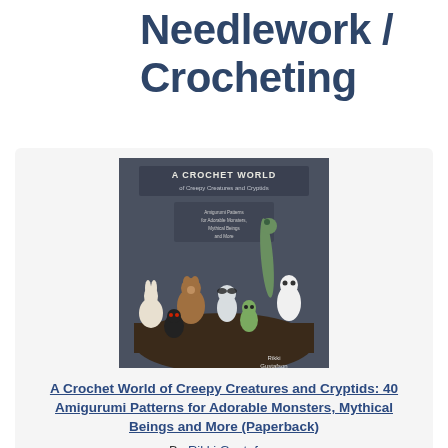Needlework / Crocheting
[Figure (photo): Book cover of 'A Crochet World of Creepy Creatures and Cryptids' by Rikki Gustafson, showing amigurumi crochet figures of monsters and cryptids on a dark gray background.]
A Crochet World of Creepy Creatures and Cryptids: 40 Amigurumi Patterns for Adorable Monsters, Mythical Beings and More (Paperback)
By Rikki Gustafson
$22.99
Add to Cart
On Our Shelves Now